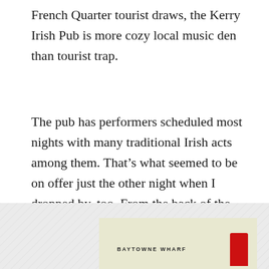French Quarter tourist draws, the Kerry Irish Pub is more cozy local music den than tourist trap.
The pub has performers scheduled most nights with many traditional Irish acts among them. That's what seemed to be on offer just the other night when I dropped by, too. From the back of the long, narrow room I could hear a guitar giving way to what I thought was a bodhrán, the traditional Irish drum with its distinctive, galloping beat.
[Figure (photo): Bottom portion of a photo showing what appears to be a sign reading BAYTOWNE WHARF with a red element visible, set against a light yellowish-green background with diagonal hatching pattern on the left side.]